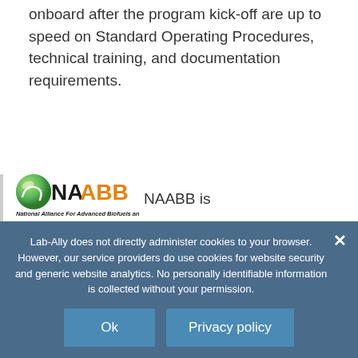onboard after the program kick-off are up to speed on Standard Operating Procedures, technical training, and documentation requirements.
[Figure (logo): NAABB - National Alliance For Advanced Biofuels and Bio-products logo with green sphere and orange/black text]
NAABB is a DOE-funded program that uses CERF lab notebook to bring together 200+ organizations to
Lab-Ally does not directly administer cookies to your browser. However, our service providers do use cookies for website security and generic website analytics. No personally identifiable information is collected without your permission.